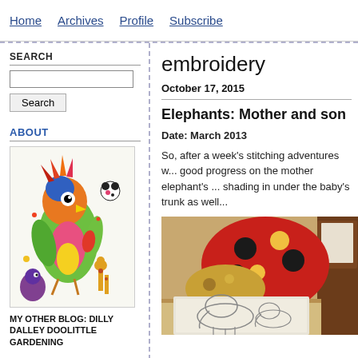Home  Archives  Profile  Subscribe
SEARCH
ABOUT
[Figure (illustration): Colorful cartoon illustration of a parrot-like bird and other whimsical characters in green, red, yellow, pink colors]
MY OTHER BLOG: DILLY DALLEY DOOLITTLE GARDENING
embroidery
October 17, 2015
Elephants: Mother and son
Date: March 2013
So, after a week's stitching adventures w... good progress on the mother elephant's ... shading in under the baby's trunk as well...
[Figure (photo): Photo of an embroidery project on a table with colorful fabric/cushion in background, showing elephant sketch/pattern]